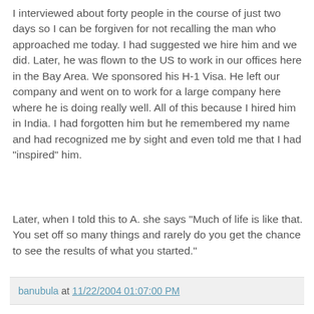I interviewed about forty people in the course of just two days so I can be forgiven for not recalling the man who approached me today. I had suggested we hire him and we did. Later, he was flown to the US to work in our offices here in the Bay Area. We sponsored his H-1 Visa. He left our company and went on to work for a large company here where he is doing really well. All of this because I hired him in India. I had forgotten him but he remembered my name and had recognized me by sight and even told me that I had "inspired" him.
Later, when I told this to A. she says "Much of life is like that. You set off so many things and rarely do you get the chance to see the results of what you started."
banubula at 11/22/2004 01:07:00 PM
No comments:
Post a Comment